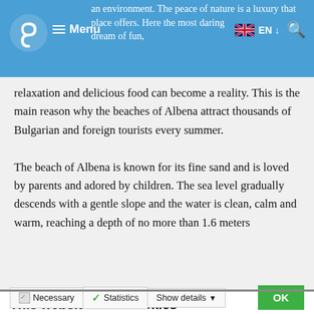Menu | EN | [search icon]
an environment. The peace of nature is a luxury that place offers. Here the most daring dream of fun, relaxation and delicious food can become a reality. This is the main reason why the beaches of Albena attract thousands of Bulgarian and foreign tourists every summer.

The beach of Albena is known for its fine sand and is loved by parents and adored by children. The sea level gradually descends with a gentle slope and the water is clean, calm and warm, reaching a depth of no more than 1.6 meters
This website uses cookies
We use cookies to personalise content and ads, to provide social media features and to analyse our traffic. We also share information about your use of our site with our social media, advertising and analytics partners who may combine it with other information that you've provided to them or that they've collected from your use of their services. You consent to our cookies if you continue to use our website.